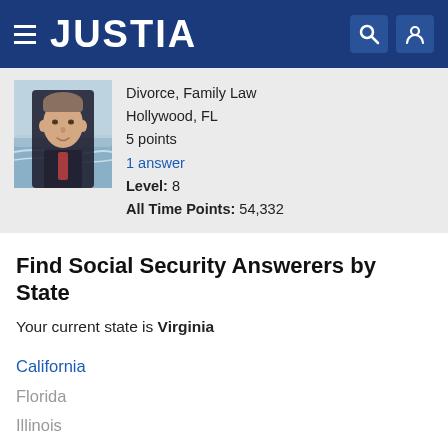JUSTIA
[Figure (photo): Headshot of a middle-aged man in a suit and tie, with a beach/ocean background]
Divorce, Family Law
Hollywood, FL
5 points
1 answer
Level: 8
All Time Points: 54,332
Find Social Security Answerers by State
Your current state is Virginia
California
Florida
Illinois
New York
Pennsylvania
Texas